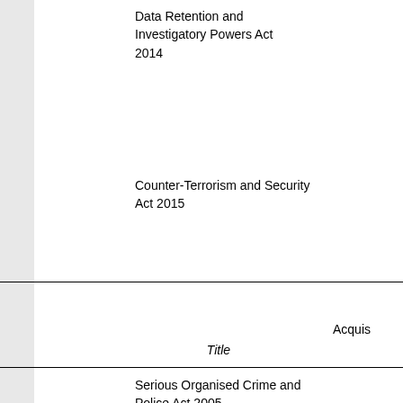Data Retention and Investigatory Powers Act 2014
Counter-Terrorism and Security Act 2015
Acquis
Title
Serious Organised Crime and Police Act 2005
Serious Crime Act 2007
Police, Public Order and Criminal Justice (Scotland) Act 2006 (Consequential Provisions and Modifications) Order 2007 (S.I. 2007/1098)
Policing and Crime Act 2009